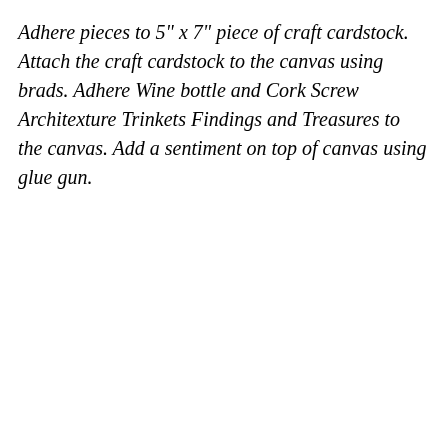Adhere pieces to 5" x 7" piece of craft cardstock. Attach the craft cardstock to the canvas using brads. Adhere Wine bottle and Cork Screw Architexture Trinkets Findings and Treasures to the canvas. Add a sentiment on top of canvas using glue gun.